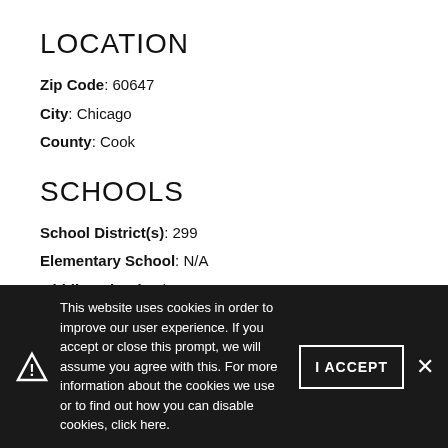LOCATION
Zip Code: 60647
City: Chicago
County: Cook
SCHOOLS
School District(s): 299
Elementary School: N/A
Middle School: N/A
High School: N/A
This website uses cookies in order to improve our user experience. If you accept or close this prompt, we will assume you agree with this. For more information about the cookies we use or to find out how you can disable cookies, click here.